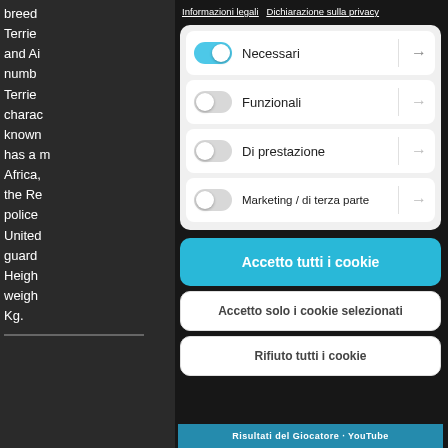breed Terrier and Ai numb Terrier charac known has a n Africa, the Re police United guard Heigh weigh Kg.
Informazioni legali  Dichiarazione sulla privacy
Necessari →
Funzionali →
Di prestazione →
Marketing / di terza parte →
Accetto tutti i cookie
Accetto solo i cookie selezionati
Rifiuto tutti i cookie